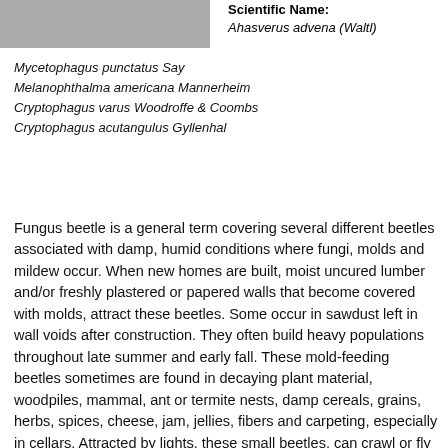[Figure (photo): Partial photo of a fungus beetle, top portion visible as a grayscale image.]
Scientific Name: Ahasverus advena (Waltl)
Mycetophagus punctatus Say
Melanophthalma americana Mannerheim
Cryptophagus varus Woodroffe & Coombs
Cryptophagus acutangulus Gyllenhal
Fungus beetle is a general term covering several different beetles associated with damp, humid conditions where fungi, molds and mildew occur. When new homes are built, moist uncured lumber and/or freshly plastered or papered walls that become covered with molds, attract these beetles. Some occur in sawdust left in wall voids after construction. They often build heavy populations throughout late summer and early fall. These mold-feeding beetles sometimes are found in decaying plant material, woodpiles, mammal, ant or termite nests, damp cereals, grains, herbs, spices, cheese, jam, jellies, fibers and carpeting, especially in cellars. Attracted by lights, these small beetles, can crawl or fly through window or door screens, and then wander aimlessly.